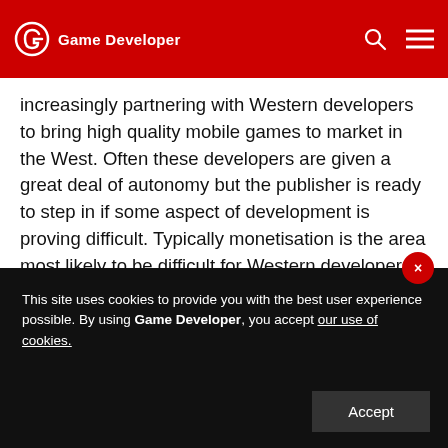Game Developer
increasingly partnering with Western developers to bring high quality mobile games to market in the West. Often these developers are given a great deal of autonomy but the publisher is ready to step in if some aspect of development is proving difficult. Typically monetisation is the area most likely to be difficult for Western developers because they have very little experience creating F2P business models for mobile games, and certainly less than their Eastern counterparts.
This site uses cookies to provide you with the best user experience possible. By using Game Developer, you accept our use of cookies.